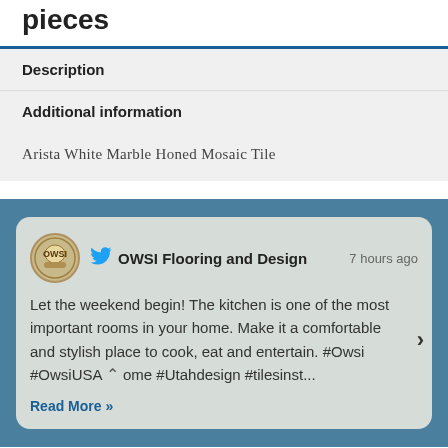pieces
Description
Additional information
Arista White Marble Honed Mosaic Tile
OWSI Flooring and Design  7 hours ago
Let the weekend begin! The kitchen is one of the most important rooms in your home. Make it a comfortable and stylish place to cook, eat and entertain. #Owsi #OwsiUSA #home #Utahdesign #tilesinst...
Read More »